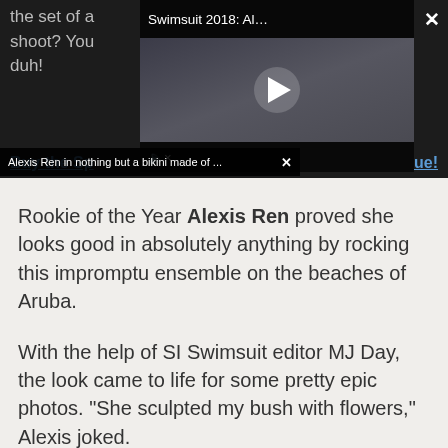the set of a photo shoot? You bottom, duh!
[Figure (screenshot): Video player overlay showing 'Swimsuit 2018: Al...' with play button and mute icon, featuring a woman on a beach]
Alexis Ren in nothing but a bikini made of ...
Buy the Sp... 022 Issue!
Rookie of the Year Alexis Ren proved she looks good in absolutely anything by rocking this impromptu ensemble on the beaches of Aruba.
With the help of SI Swimsuit editor MJ Day, the look came to life for some pretty epic photos. "She sculpted my bush with flowers," Alexis joked.